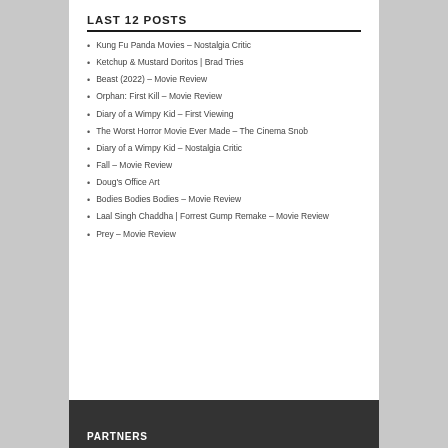LAST 12 POSTS
Kung Fu Panda Movies – Nostalgia Critic
Ketchup & Mustard Doritos | Brad Tries
Beast (2022) – Movie Review
Orphan: First Kill – Movie Review
Diary of a Wimpy Kid – First Viewing
The Worst Horror Movie Ever Made – The Cinema Snob
Diary of a Wimpy Kid – Nostalgia Critic
Fall – Movie Review
Doug's Office Art
Bodies Bodies Bodies – Movie Review
Laal Singh Chaddha | Forrest Gump Remake – Movie Review
Prey – Movie Review
PARTNERS